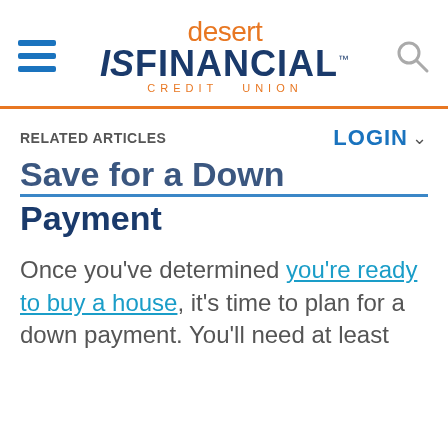[Figure (logo): Desert Financial Credit Union logo with hamburger menu and search icon]
RELATED ARTICLES
LOGIN
Payment
Once you've determined you're ready to buy a house, it's time to plan for a down payment. You'll need at least